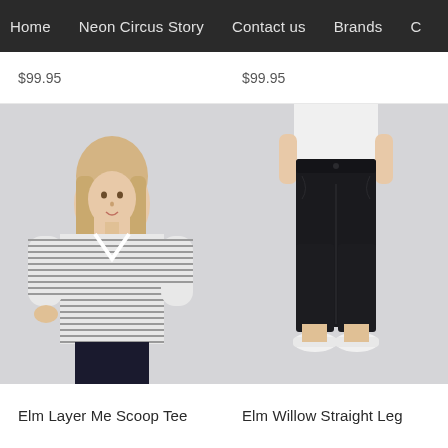Home  Neon Circus Story  Contact us  Brands  C
$99.95  $99.95
[Figure (photo): Woman wearing a grey and white striped v-neck 3/4 sleeve tee, standing against a light grey background.]
[Figure (photo): Woman wearing black straight leg jeans and a white t-shirt, with white sneakers, standing against a light grey background.]
Elm Layer Me Scoop Tee
Elm Willow Straight Leg